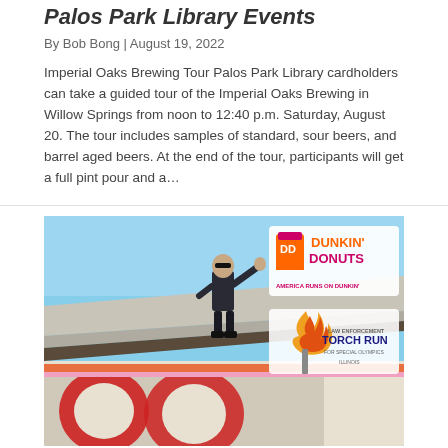Palos Park Library Events
By Bob Bong | August 19, 2022
Imperial Oaks Brewing Tour Palos Park Library cardholders can take a guided tour of the Imperial Oaks Brewing in Willow Springs from noon to 12:40 p.m. Saturday, August 20. The tour includes samples of standard, sour beers, and barrel aged beers. At the end of the tour, participants will get a full pint pour and a…
[Figure (photo): Person waving from rooftop of Dunkin' Donuts restaurant. Dunkin' Donuts logo and Law Enforcement Torch Run for Special Olympics Illinois logo visible in upper right.]